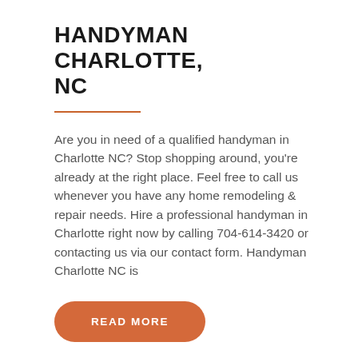HANDYMAN CHARLOTTE, NC
Are you in need of a qualified handyman in Charlotte NC? Stop shopping around, you're already at the right place. Feel free to call us whenever you have any home remodeling & repair needs. Hire a professional handyman in Charlotte right now by calling 704-614-3420 or contacting us via our contact form. Handyman Charlotte NC is
READ MORE